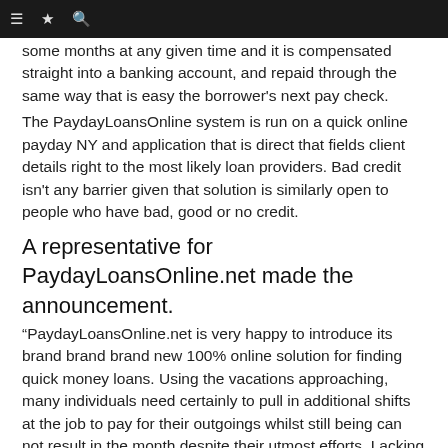☰  ☆  🔍
some months at any given time and it is compensated straight into a banking account, and repaid through the same way that is easy the borrower's next pay check.
The PaydayLoansOnline system is run on a quick online payday NY and application that is direct that fields client details right to the most likely loan providers. Bad credit isn't any barrier given that solution is similarly open to people who have bad, good or no credit.
A representative for PaydayLoansOnline.net made the announcement.
“PaydayLoansOnline.net is very happy to introduce its brand brand brand new 100% online solution for finding quick money loans. Using the vacations approaching, many individuals need certainly to pull in additional shifts at the job to pay for their outgoings whilst still being can not result in the month despite their utmost efforts. Lacking precious hours of strive to check out storefront lenders that are payday lost earnings and frequently, wasted journeys where they’re not authorized.”
The representative proceeded, “The good thing about our online pay day loans finding solution is that people are partnered with loan providers whom run twenty-four hours